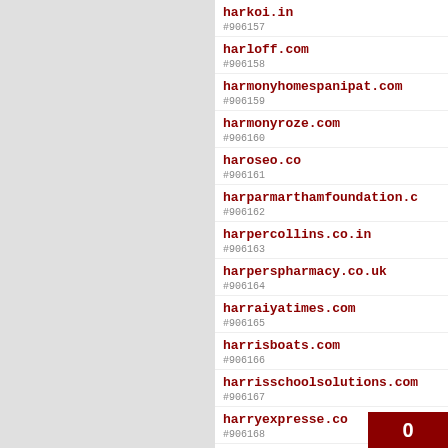#906157 harkoi.in
#906158 harloff.com
#906159 harmonyhomespanipat.com
#906160 harmonyroze.com
#906161 haroseo.co
#906162 harparmarthamfoundation.c
#906163 harpercollins.co.in
#906164 harperspharmacy.co.uk
#906165 harraiyatimes.com
#906166 harrisboats.com
#906167 harrisschoolsolutions.com
#906168 harryexpresse.co